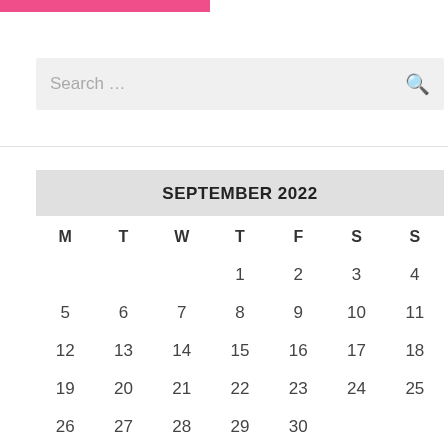[Figure (other): Pink horizontal bar at top left]
Search ...
| M | T | W | T | F | S | S |
| --- | --- | --- | --- | --- | --- | --- |
|  |  |  | 1 | 2 | 3 | 4 |
| 5 | 6 | 7 | 8 | 9 | 10 | 11 |
| 12 | 13 | 14 | 15 | 16 | 17 | 18 |
| 19 | 20 | 21 | 22 | 23 | 24 | 25 |
| 26 | 27 | 28 | 29 | 30 |  |  |